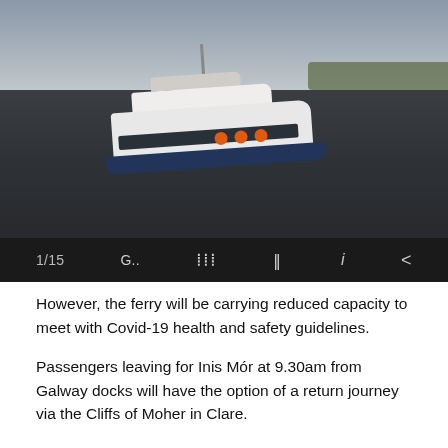[Figure (photo): A white passenger ferry boat on dark calm water under an overcast grey sky, with orange buoys on its side and a dark blue hull. Green shoreline visible in the background at top right.]
1/15
However, the ferry will be carrying reduced capacity to meet with Covid-19 health and safety guidelines.
Passengers leaving for Inis Mór at 9.30am from Galway docks will have the option of a return journey via the Cliffs of Moher in Clare.
The Doolin2Aran Ferries company in Doolin, Co Clare, also offers services along the coast cliffs from Doolin pier.